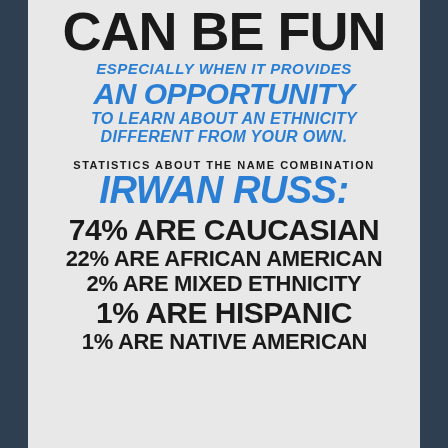CAN BE FUN
ESPECIALLY WHEN IT PROVIDES AN OPPORTUNITY TO LEARN ABOUT AN ETHNICITY DIFFERENT FROM YOUR OWN.
STATISTICS ABOUT THE NAME COMBINATION
IRWAN RUSS:
74% ARE CAUCASIAN
22% ARE AFRICAN AMERICAN
2% ARE MIXED ETHNICITY
1% ARE HISPANIC
1% ARE NATIVE AMERICAN